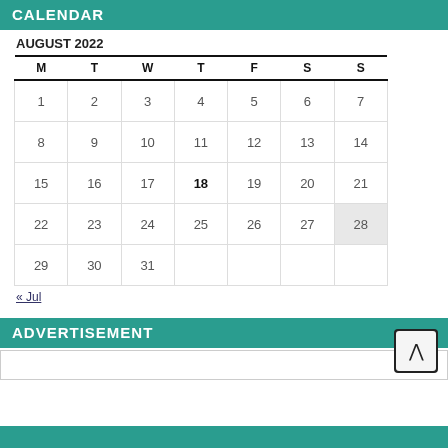CALENDAR
AUGUST 2022
| M | T | W | T | F | S | S |
| --- | --- | --- | --- | --- | --- | --- |
| 1 | 2 | 3 | 4 | 5 | 6 | 7 |
| 8 | 9 | 10 | 11 | 12 | 13 | 14 |
| 15 | 16 | 17 | 18 | 19 | 20 | 21 |
| 22 | 23 | 24 | 25 | 26 | 27 | 28 |
| 29 | 30 | 31 |  |  |  |  |
« Jul
ADVERTISEMENT